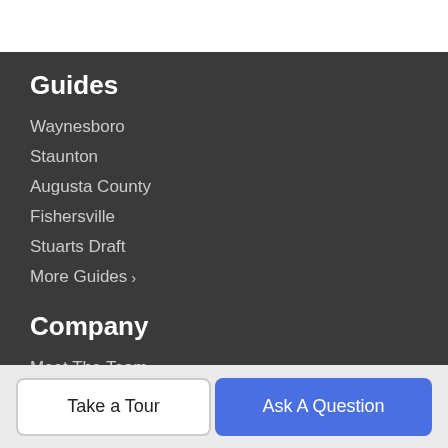Guides
Waynesboro
Staunton
Augusta County
Fishersville
Stuarts Draft
More Guides >
Company
Meet The Team
Our Blog
Contact Us
Take a Tour
Ask A Question